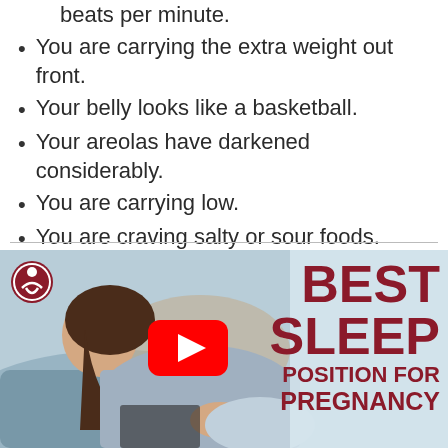beats per minute.
You are carrying the extra weight out front.
Your belly looks like a basketball.
Your areolas have darkened considerably.
You are carrying low.
You are craving salty or sour foods.
[Figure (screenshot): Video thumbnail showing a pregnant woman sleeping, with text overlay reading 'BEST SLEEP POSITION FOR PREGNANCY' and a YouTube play button in the center. A logo with a stylized figure is in the top-left corner.]